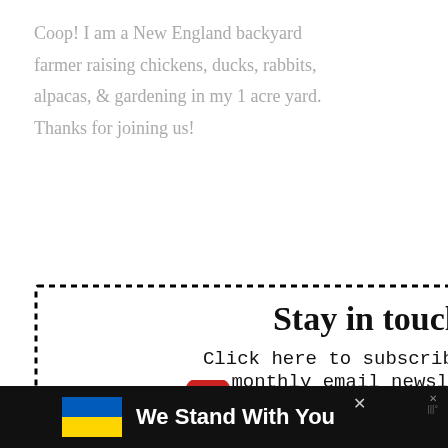Coop! I am a New England backyard farmer raising chickens, ducks, rabbits, alpacas, & gardening in my 1 acre yard. Thanks for joining us!
[Figure (illustration): A dotted-border box with a newsletter sign-up graphic. Title 'Stay in touch!' followed by text 'Click here to subscribe to our monthly email newsletter. Never miss any of the farmy fun!' with two cartoon chicken illustrations at the bottom.]
We Stand With You